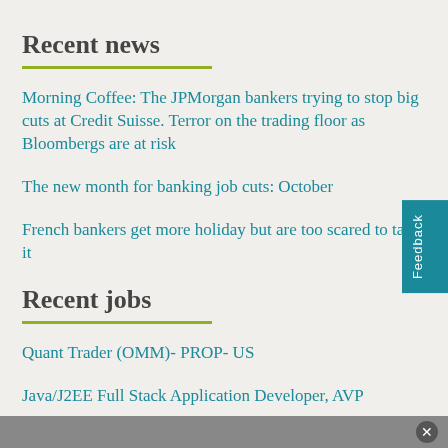Recent news
Morning Coffee: The JPMorgan bankers trying to stop big cuts at Credit Suisse. Terror on the trading floor as Bloombergs are at risk
The new month for banking job cuts: October
French bankers get more holiday but are too scared to take it
Recent jobs
Quant Trader (OMM)- PROP- US
Java/J2EE Full Stack Application Developer, AVP
Projects Coordinator Cybersecurity